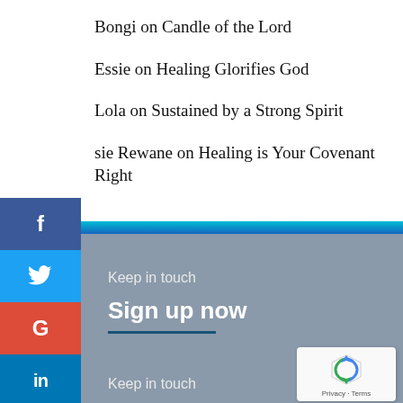Bongi on Candle of the Lord
Essie on Healing Glorifies God
Lola on Sustained by a Strong Spirit
sie Rewane on Healing is Your Covenant Right
[Figure (screenshot): Social media share buttons: Facebook (blue), Twitter (blue), Google (red), LinkedIn (blue) stacked vertically on left side]
Keep in touch
Sign up now
Keep in touch